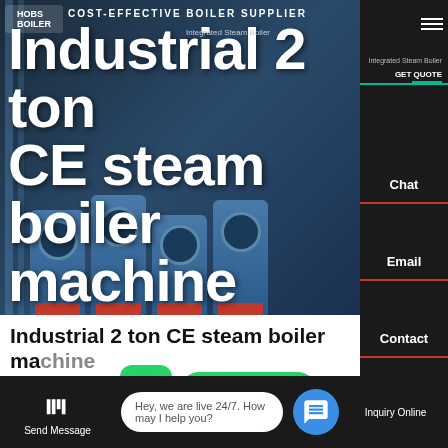[Figure (screenshot): Hero banner showing industrial steam boilers with blue industrial machinery background. Company logo 'HOBS BOILER' with tagline 'COST-EFFECTIVE BOILER SUPPLIER' overlaid on industrial equipment photo.]
Industrial 2 ton CE steam boiler machine
[Figure (screenshot): WhatsApp contact button with green icon and 'Contact us now!' button]
HOT NEWS
[Figure (screenshot): Bottom chat bar with Send Message button, live chat bubble saying 'Hey, we are live 24/7. How may I help you?' and Inquiry Online button]